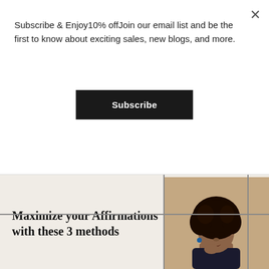Subscribe & Enjoy10% offJoin our email list and be the first to know about exciting sales, new blogs, and more.
[Figure (other): Subscribe button - black rectangle with white bold text reading 'Subscribe']
[Figure (logo): Circular logo with a bird/arrow silhouette inside a circle outline]
[Figure (photo): Portrait photo of a Black woman with natural curly hair, wearing a dark outfit, with hand near chin, against a neutral background]
Maximize your Affirmations with these 3 methods